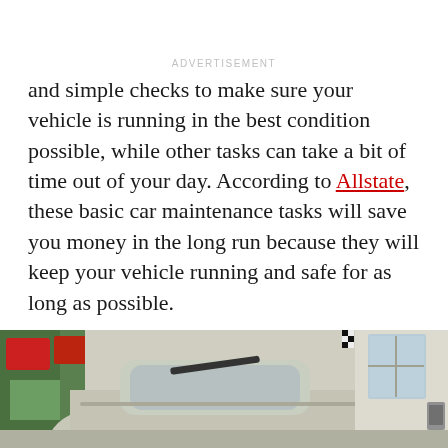ADVERTISEMENT
and simple checks to make sure your vehicle is running in the best condition possible, while other tasks can take a bit of time out of your day. According to Allstate, these basic car maintenance tasks will save you money in the long run because they will keep your vehicle running and safe for as long as possible.
[Figure (photo): A car with its hood open in an auto repair shop/garage. The car appears to be gray/silver, with a windshield wiper visible. There are red signs on the left side and a white wall with a window on the right.]